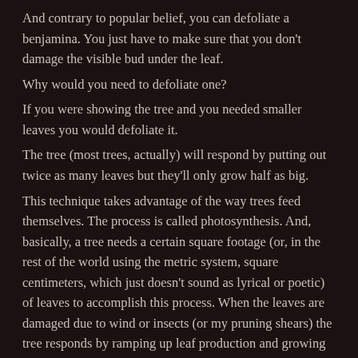And contrary to popular belief, you can defoliate a benjamina. You just have to make sure that you don't damage the visible bud under the leaf.
Why would you need to defoliate one?
If you were showing the tree and you needed smaller leaves you would defoliate it.
The tree (most trees, actually) will respond by putting out twice as many leaves but they'll only grow half as big.
This technique takes advantage of the way trees feed themselves. The process is called photosynthesis. And, basically, a tree needs a certain square footage (or, in the rest of the world using the metric system, square centimeters, which just doesn't sound as lyrical or poetic) of leaves to accomplish this process. When the leaves are damaged due to wind or insects (or my pruning shears) the tree responds by ramping up leaf production and growing as many as it can. But they'll stop growing once that square footage is reached. And they'll have smaller leaves as a result.